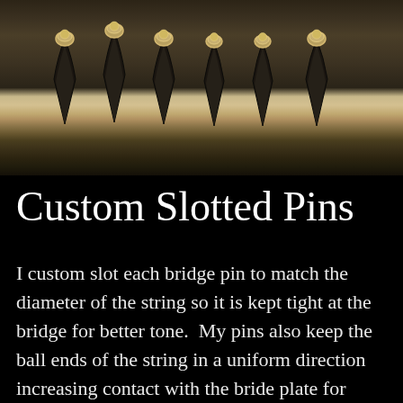[Figure (photo): Six guitar bridge pins with metallic tops inserted into a dark wooden guitar bridge, photographed from above on a dark wooden surface]
Custom Slotted Pins
I custom slot each bridge pin to match the diameter of the string so it is kept tight at the bridge for better tone.  My pins also keep the ball ends of the string in a uniform direction increasing contact with the bride plate for better energy transfer as well as reduced wear on the bridge